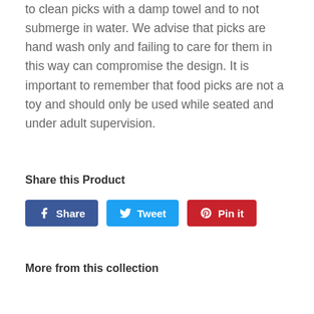to clean picks with a damp towel and to not submerge in water. We advise that picks are hand wash only and failing to care for them in this way can compromise the design. It is important to remember that food picks are not a toy and should only be used while seated and under adult supervision.
Share this Product
Share  Tweet  Pin it
More from this collection